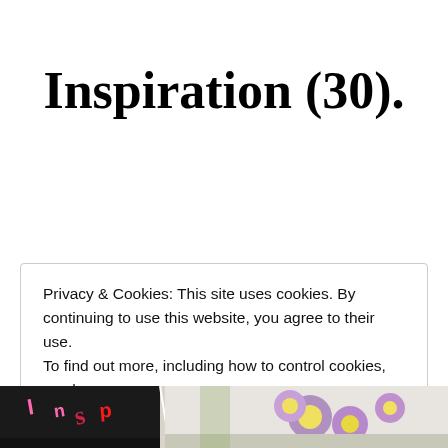Inspiration (30).
Privacy & Cookies: This site uses cookies. By continuing to use this website, you agree to their use.
To find out more, including how to control cookies, see here:
Cookie Policy
Close and accept
[Figure (photo): Partial view of a photo at the bottom of the page, showing what appears to be text/signage on the left and purple flowers on the right, cropped at the page edge.]